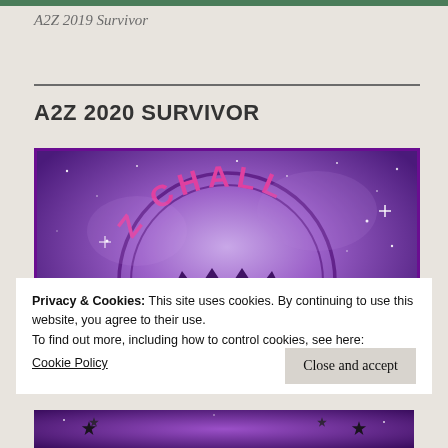A2Z 2019 Survivor
A2Z 2020 SURVIVOR
[Figure (logo): A2Z Challenge badge/logo with purple galaxy background, circular stamp design with pink text reading 'Z CHALL' visible, dark purple crown/sun shape in center]
Privacy & Cookies: This site uses cookies. By continuing to use this website, you agree to their use.
To find out more, including how to control cookies, see here:
Cookie Policy
[Figure (photo): Bottom portion of A2Z Challenge image with purple and dark elements and star decorations]